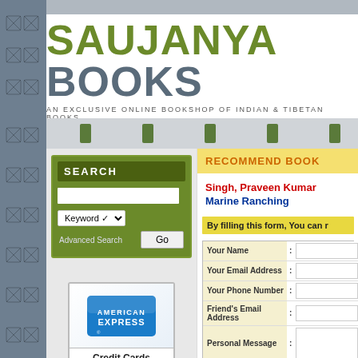SAUJANYA BOOKS
AN EXCLUSIVE ONLINE BOOKSHOP OF INDIAN & TIBETAN BOOKS.
SEARCH
Advanced Search
RECOMMEND BOOK
Singh, Praveen Kumar
Marine Ranching
By filling this form, You can r
| Field | : | Input |
| --- | --- | --- |
| Your Name | : |  |
| Your Email Address | : |  |
| Your Phone Number | : |  |
| Friend's Email Address | : |  |
| Personal Message | : |  |
[Figure (logo): American Express credit card logo with blue background and AMERICAN EXPRESS text]